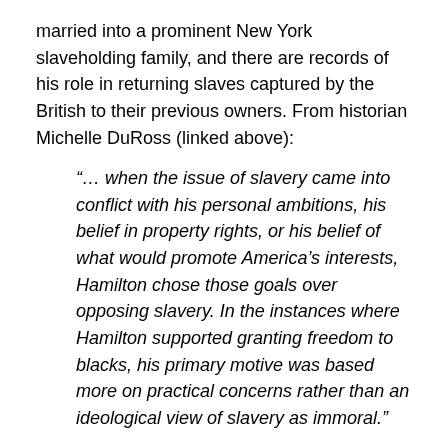married into a prominent New York slaveholding family, and there are records of his role in returning slaves captured by the British to their previous owners. From historian Michelle DuRoss (linked above):
“… when the issue of slavery came into conflict with his personal ambitions, his belief in property rights, or his belief of what would promote America’s interests, Hamilton chose those goals over opposing slavery. In the instances where Hamilton supported granting freedom to blacks, his primary motive was based more on practical concerns rather than an ideological view of slavery as immoral.”
Hamilton’s is known to have advocated manumission: freeing slaves who agreed to serve in the fight against the British. That position was a practical matter, as it would